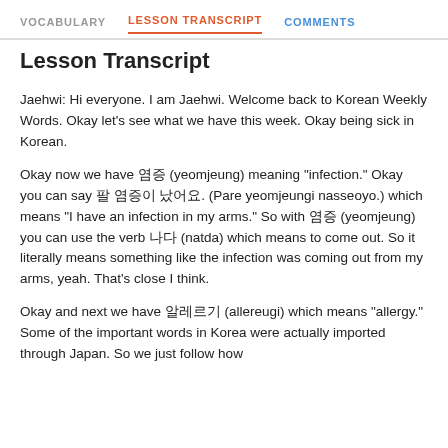VOCABULARY   LESSON TRANSCRIPT   COMMENTS
Lesson Transcript
Jaehwi: Hi everyone. I am Jaehwi. Welcome back to Korean Weekly Words. Okay let’s see what we have this week. Okay being sick in Korean.
Okay now we have 염증 (yeomjeung) meaning “infection.” Okay you can say 팔 염증이 났어요. (Pare yeomjeungi nasseoyo.) which means “I have an infection in my arms.” So with 염증 (yeomjeung) you can use the verb 나다 (natda) which means to come out. So it literally means something like the infection was coming out from my arms, yeah. That’s close I think.
Okay and next we have 알레르기 (allereugi) which means “allergy.” Some of the important words in Korea were actually imported through Japan. So we just follow how